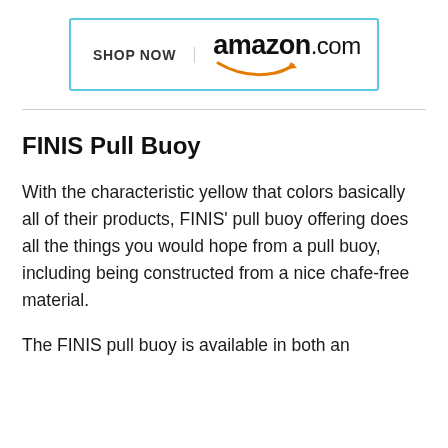[Figure (logo): Amazon.com 'Shop Now' button with blue border, showing 'SHOP NOW' text on left separated by a vertical line, and 'amazon.com' logo with orange smile arrow on the right]
FINIS Pull Buoy
With the characteristic yellow that colors basically all of their products, FINIS' pull buoy offering does all the things you would hope from a pull buoy, including being constructed from a nice chafe-free material.
The FINIS pull buoy is available in both an